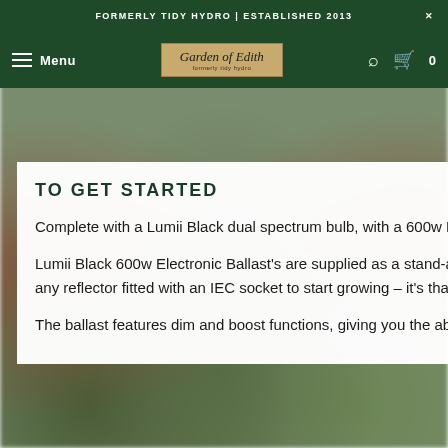FORMERLY TIDY HYDRO | ESTABLISHED 2013
[Figure (logo): Garden of Edith logo on tan/wood-grain background]
TO GET STARTED
Complete with a Lumii Black dual spectrum bulb, with a 600w Lumii Black Magnetic ballast and the Lumii Maxii reflector.
Lumii Black 600w Electronic Ballast's are supplied as a stand-alone ballast with a flying IEC lead, which means you can add any reflector fitted with an IEC socket to start growing – it's that simple!
The ballast features dim and boost functions, giving you the ability to control the light output from your lamp